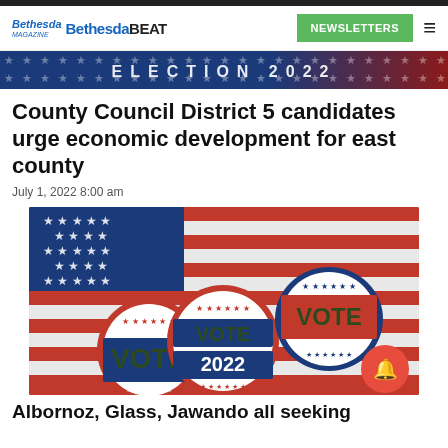Bethesda Beat — NEWSLETTERS
[Figure (photo): Decorative banner strip with election 2022 text pattern in blue and red]
County Council District 5 candidates urge economic development for east county
July 1, 2022 8:00 am
[Figure (photo): Photo of three Vote 2022 campaign buttons on an American flag background]
Albornoz, Glass, Jawando all seeking